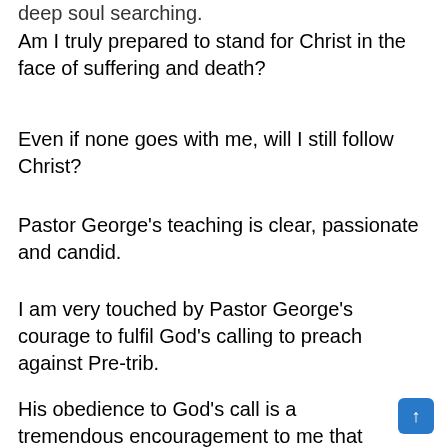deep soul searching.
Am I truly prepared to stand for Christ in the face of suffering and death?
Even if none goes with me, will I still follow Christ?
Pastor George's teaching is clear, passionate and candid.
I am very touched by Pastor George's courage to fulfil God's calling to preach against Pre-trib.
Though he has paid a high price, I believe his rewards from the Lord will be greater.
His obedience to God's call is a tremendous encouragement to me that one should stand for the truth even if one has to stand alone.